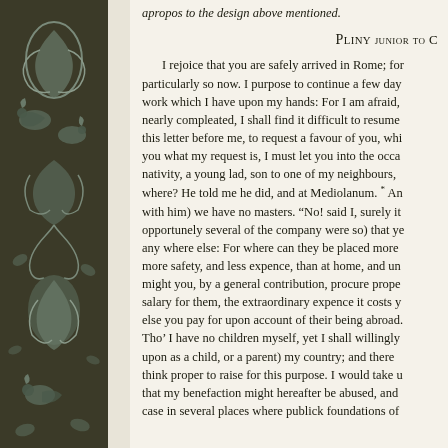apropos to the design above mentioned.
Pliny junior to C
I rejoice that you are safely arrived in Rome; for particularly so now. I purpose to continue a few day work which I have upon my hands: For I am afraid, nearly compleated, I shall find it difficult to resume this letter before me, to request a favour of you, whi you what my request is, I must let you into the occa nativity, a young lad, son to one of my neighbours, where? He told me he did, and at Mediolanum. * An with him) we have no masters. "No! said I, surely it opportunely several of the company were so) that ye any where else: For where can they be placed more more safety, and less expence, than at home, and un might you, by a general contribution, procure prope salary for them, the extraordinary expence it costs y else you pay for upon account of their being abroad. Tho' I have no children myself, yet I shall willingly upon as a child, or a parent) my country; and there think proper to raise for this purpose. I would take u that my benefaction might hereafter be abused, and case in several places where publick foundations of